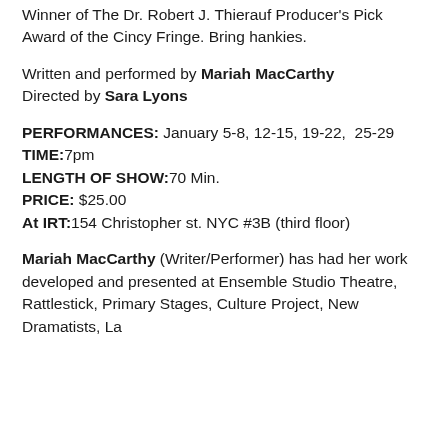Winner of The Dr. Robert J. Thierauf Producer's Pick Award of the Cincy Fringe. Bring hankies.
Written and performed by Mariah MacCarthy
Directed by Sara Lyons
PERFORMANCES: January 5-8, 12-15, 19-22,  25-29
TIME:7pm
LENGTH OF SHOW:70 Min.
PRICE: $25.00
At IRT:154 Christopher st. NYC #3B (third floor)
Mariah MacCarthy (Writer/Performer) has had her work developed and presented at Ensemble Studio Theatre, Rattlestick, Primary Stages, Culture Project, New Dramatists, La